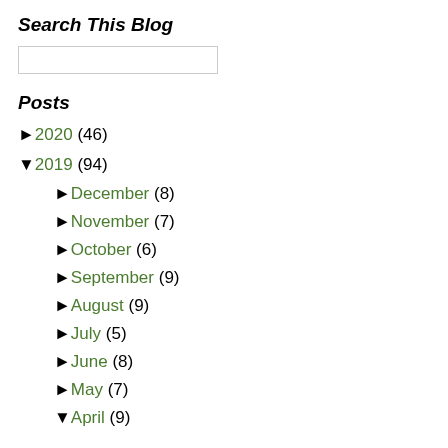Search This Blog
2020 (46)
2019 (94)
December (8)
November (7)
October (6)
September (9)
August (9)
July (5)
June (8)
May (7)
April (9)
Posts